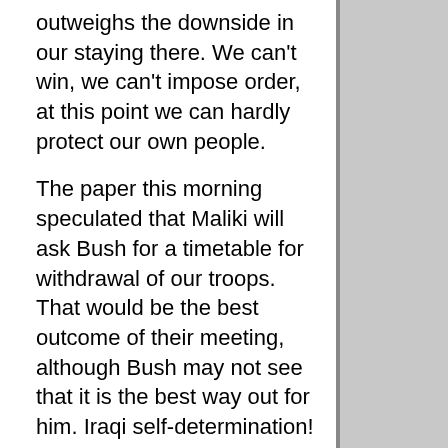outweighs the downside in our staying there. We can't win, we can't impose order, at this point we can hardly protect our own people.
The paper this morning speculated that Maliki will ask Bush for a timetable for withdrawal of our troops. That would be the best outcome of their meeting, although Bush may not see that it is the best way out for him. Iraqi self-determination!